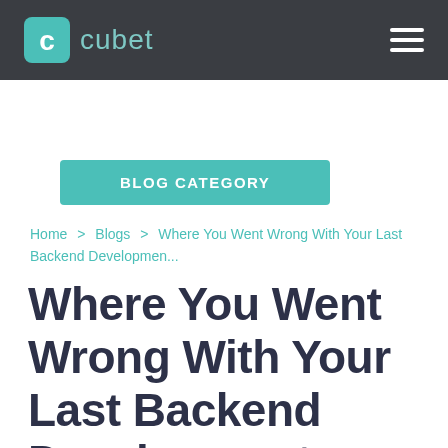cubet
BLOG CATEGORY
Home > Blogs > Where You Went Wrong With Your Last Backend Developmen...
Where You Went Wrong With Your Last Backend Development Project?